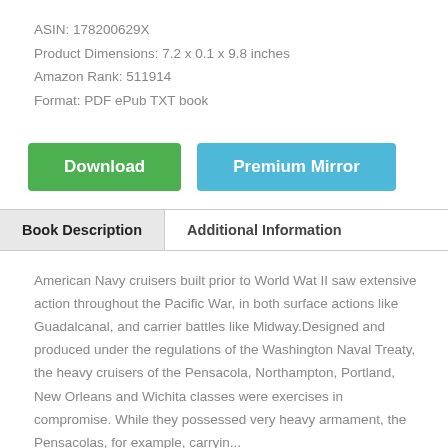ASIN: 178200629X
Product Dimensions: 7.2 x 0.1 x 9.8 inches
Amazon Rank: 511914
Format: PDF ePub TXT book
[Figure (other): Download button (green) and Premium Mirror button (blue)]
Book Description	Additional Information
American Navy cruisers built prior to World Wat II saw extensive action throughout the Pacific War, in both surface actions like Guadalcanal, and carrier battles like Midway.Designed and produced under the regulations of the Washington Naval Treaty, the heavy cruisers of the Pensacola, Northampton, Portland, New Orleans and Wichita classes were exercises in compromise. While they possessed very heavy armament, the Pensacolas, for example, carryin...